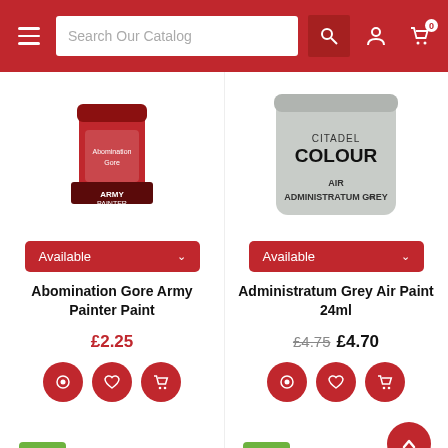Search Our Catalog
[Figure (photo): Army Painter Abomination Gore paint pot, red label]
[Figure (photo): Citadel Colour Air Administratum Grey paint pot, grey colour]
Available
Available
Abomination Gore Army Painter Paint
Administratum Grey Air Paint 24ml
£2.25
£4.75 £4.70
SALE
SALE